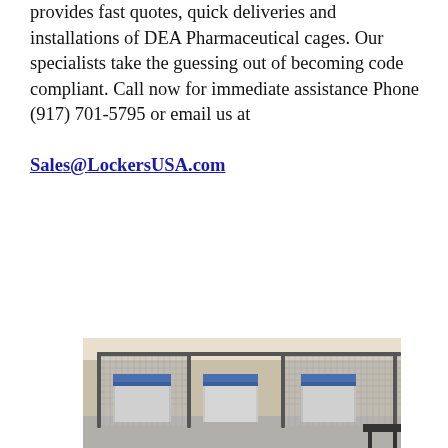provides fast quotes, quick deliveries and installations of DEA Pharmaceutical cages. Our specialists take the guessing out of becoming code compliant. Call now for immediate assistance Phone (917) 701-5795 or email us at Sales@LockersUSA.com
[Figure (photo): Photo of a DEA Pharmaceutical cage installation inside a room, showing wire mesh enclosures with metal shelving units inside, mounted on a gray floor with beige walls.]